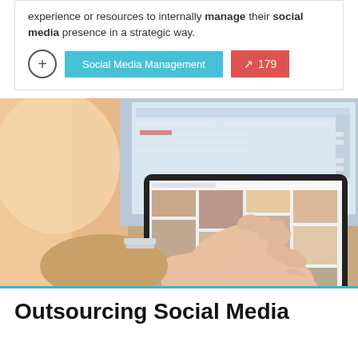experience or resources to internally manage their social media presence in a strategic way.
[Figure (screenshot): Cyan button labeled 'Social Media Management' and red button with trending up arrow icon and '179']
[Figure (photo): Person using a tablet/iPad showing a grid of images resembling a social media or Pinterest feed, with a laptop in the background]
Outsourcing Social Media